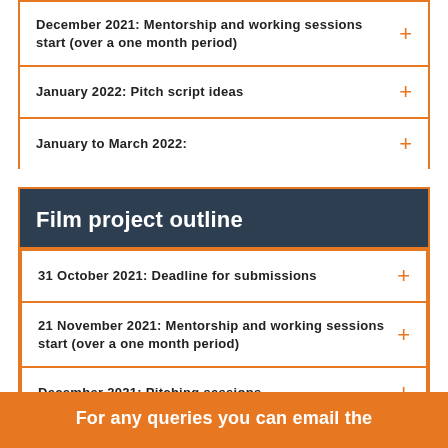December 2021: Mentorship and working sessions start (over a one month period)
January 2022: Pitch script ideas
January to March 2022:
Film project outline
31 October 2021: Deadline for submissions
21 November 2021: Mentorship and working sessions start (over a one month period)
December 2021: Pitching sessions
For any queries you can email the